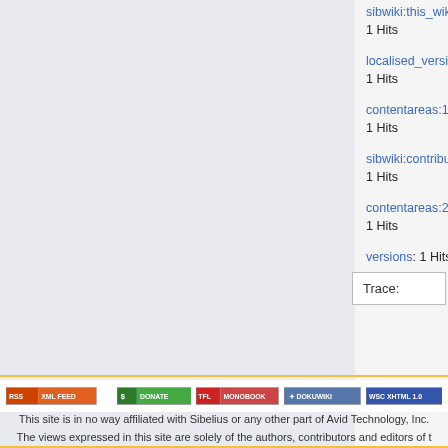sibwiki:this_wiki: 1 Hits
localised_versions: 1 Hits
contentareas:10.3_importing_from_lilypond_ 1 Hits
sibwiki:contribute: 1 Hits
contentareas:2.18_instruments: 1 Hits
versions: 1 Hits
Trace:
[Figure (infographic): Footer badges: RSS XML FEED, $ DONATE, TFL MONOBOOK, DokuWiki logo, WSC XHTML 1.0]
This site is in no way affiliated with Sibelius or any other part of Avid Technology, Inc. The views expressed in this site are solely of the authors, contributors and editors of t For official help with, support for and information about Sibelius and other Avid produ
Impressum